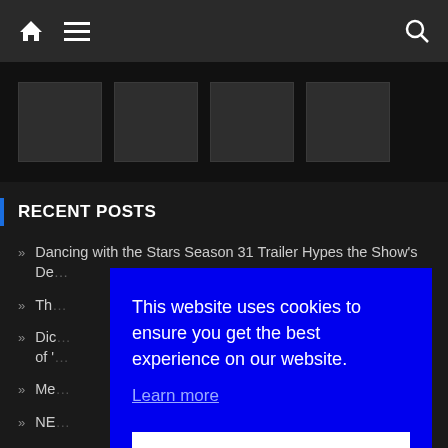Navigation bar with home, menu, and search icons
[Figure (screenshot): Dark background image strip with placeholder thumbnail images]
RECENT POSTS
Dancing with the Stars Season 31 Trailer Hypes the Show's De...
Th...
Dic... of '...
Me...
NE...
This website uses cookies to ensure you get the best experience on our website. Learn more
Got it